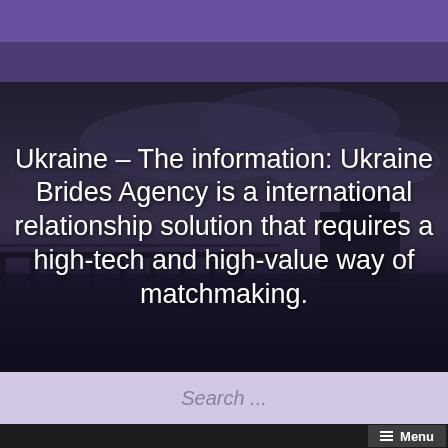[Figure (other): Purple header bar at top of webpage]
[Figure (photo): Dark moody photo of a pier or dock structure extending into water under a cloudy sky, serving as hero image background]
Ukraine – The information: Ukraine Brides Agency is a international relationship solution that requires a high-tech and high-value way of matchmaking.
Search ...
≡ Menu